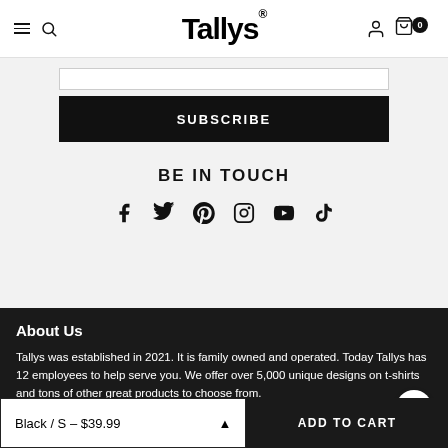Tallys® navigation bar with hamburger menu, search, logo, account, and cart (0 items)
[Figure (screenshot): Subscribe button (black rectangle) with white text SUBSCRIBE, above a light grey input field border]
BE IN TOUCH
[Figure (infographic): Social media icons: Facebook, Twitter, Pinterest, Instagram, YouTube, TikTok]
About Us
Tallys was established in 2021. It is family owned and operated. Today Tallys has 12 employees to help serve you. We offer over 5,000 unique designs on t-shirts and tons of other great products to choose from.
Black / S – $39.99   ADD TO CART